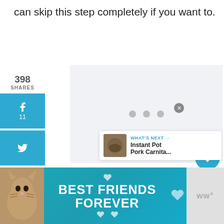can skip this step completely if you want to.
[Figure (screenshot): Social media sharing sidebar with Facebook (f, 11), Twitter (bird icon), Pinterest (P, 387), Yummly (yum), Flipboard (m), and heart/like (11) buttons in blue]
[Figure (screenshot): Main content image area showing a light gray placeholder with three gray dots loading indicator]
[Figure (screenshot): Floating action buttons: blue circle heart icon, count 493, and white circle share icon]
[Figure (screenshot): What's Next card showing: 'WHAT'S NEXT →' label, 'Instant Pot Pork Carnita...' title, with small food thumbnail image]
[Figure (infographic): Advertisement banner with teal/blue background showing a cat image on the left and text 'BEST FRIENDS FOREVER' in white bold font, with close button and gray section on right showing 'ww°' branding]